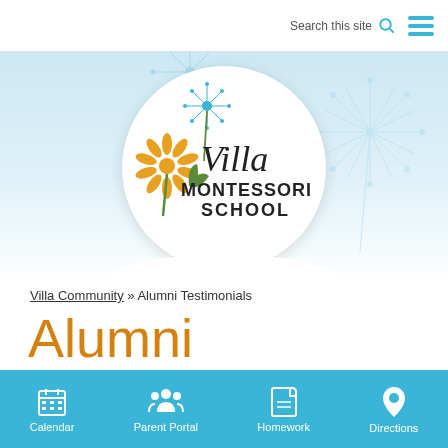Search this site
[Figure (logo): Villa Montessori School logo with dandelion flower illustration, cursive 'Villa' text and block 'MONTESSORI SCHOOL' text]
Villa Community » Alumni Testimonials
Alumni Testimonials
Calendar  Parent Portal  Homework  Directions